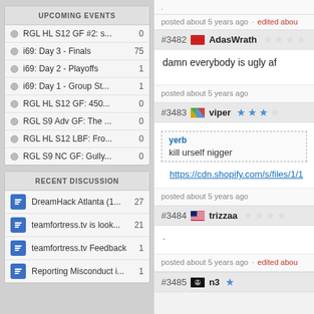UPCOMING EVENTS
RGL HL S12 GF #2: s...
i69: Day 3 - Finals
i69: Day 2 - Playoffs
i69: Day 1 - Group St...
RGL HL S12 GF: 450...
RGL S9 Adv GF: The ...
RGL HL S12 LBF: Fro...
RGL S9 NC GF: Gully...
RECENT DISCUSSION
DreamHack Atlanta (1...
teamfortress.tv is look...
teamfortress.tv Feedback
Reporting Misconduct i...
posted about 5 years ago · edited abou
#3482 AdasWrath
damn everybody is ugly af
posted about 5 years ago
#3483 viper ☆☆☆☆
yerb
kill urself nigger
https://cdn.shopify.com/s/files/1/1
posted about 5 years ago
#3484 trizzaa
.
posted about 5 years ago · edited abou
#3485 n3